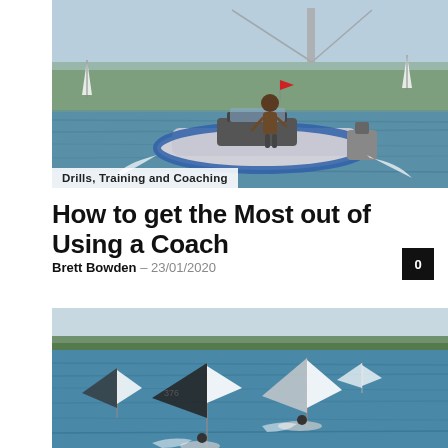[Figure (photo): A RIB (rigid inflatable boat) coaching vessel with a person standing on it, sailing boats visible in background on choppy water with a bridge in the distance]
Drills, Training and Coaching
How to get the Most out of Using a Coach
Brett Bowden – 23/01/2020
[Figure (photo): Aerial view of several small sailing dinghies racing on blue water with a tree-covered island in the background]